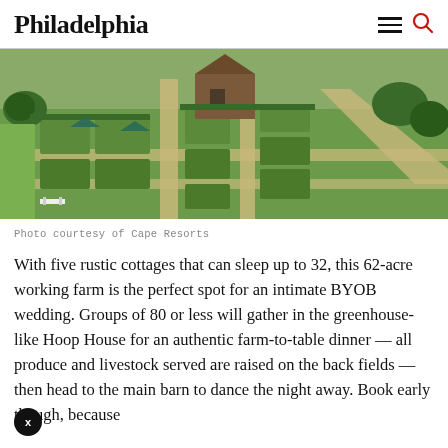Philadelphia
[Figure (photo): Aerial view of a working farm with geometric garden beds, gravel paths, a barn structure, and surrounding greenery.]
Photo courtesy of Cape Resorts
With five rustic cottages that can sleep up to 32, this 62-acre working farm is the perfect spot for an intimate BYOB wedding. Groups of 80 or less will gather in the greenhouse-like Hoop House for an authentic farm-to-table dinner — all produce and livestock served are raised on the back fields — then head to the main barn to dance the night away. Book early though, because